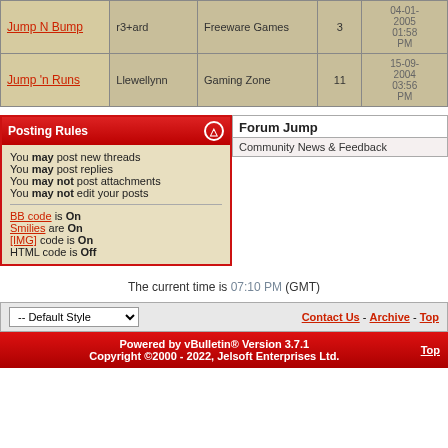| Thread | Author | Forum | Replies | Last Post |
| --- | --- | --- | --- | --- |
| Jump N Bump | r3+ard | Freeware Games | 3 | 04-01-2005 01:58 PM |
| Jump 'n Runs | Llewellynn | Gaming Zone | 11 | 15-09-2004 03:56 PM |
Posting Rules
You may post new threads
You may post replies
You may not post attachments
You may not edit your posts
BB code is On
Smilies are On
[IMG] code is On
HTML code is Off
Forum Jump
Community News & Feedback
The current time is 07:10 PM (GMT)
Powered by vBulletin® Version 3.7.1 Copyright ©2000 - 2022, Jelsoft Enterprises Ltd.